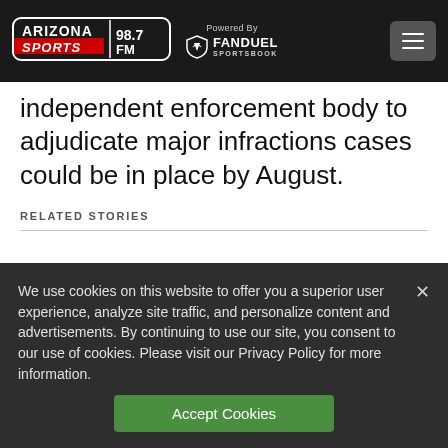Arizona Sports 98.7 FM — Powered By FanDuel Sportsbook
independent enforcement body to adjudicate major infractions cases could be in place by August.
RELATED STORIES
We use cookies on this website to offer you a superior user experience, analyze site traffic, and personalize content and advertisements. By continuing to use our site, you consent to our use of cookies. Please visit our Privacy Policy for more information.
Accept Cookies